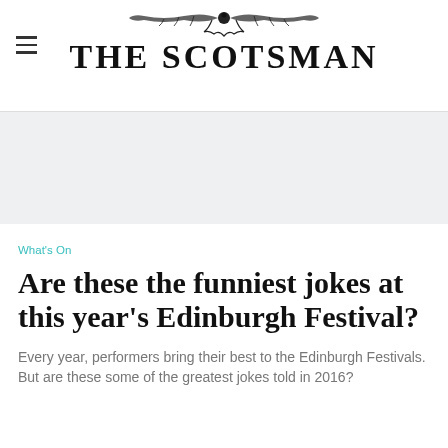THE SCOTSMAN
What's On
Are these the funniest jokes at this year's Edinburgh Festival?
Every year, performers bring their best to the Edinburgh Festivals. But are these some of the greatest jokes told in 2016?